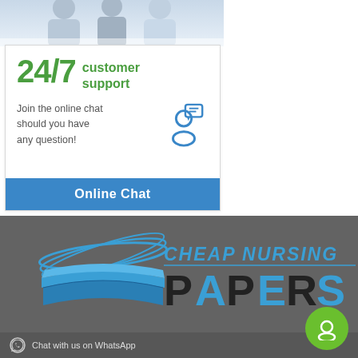[Figure (photo): Photo of people (medical/professional) at top of card, partially cropped]
24/7 customer support
Join the online chat should you have any question!
Online Chat
[Figure (logo): Cheap Nursing Papers logo with stacked books icon on dark grey background. Text reads CHEAP NURSING PAPERS with books illustration to the left.]
Chat with us on WhatsApp